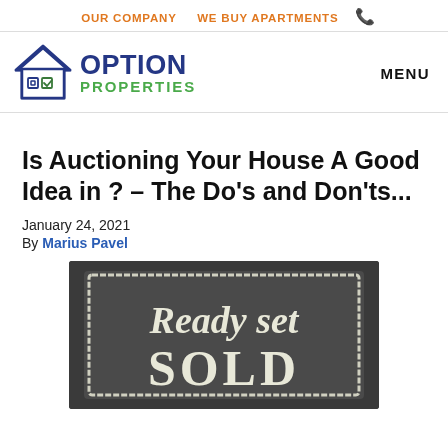OUR COMPANY   WE BUY APARTMENTS   📞
[Figure (logo): Option Properties logo: house icon with checkbox symbols and blue/green text]
MENU
Is Auctioning Your House A Good Idea in ? – The Do's and Don'ts...
January 24, 2021
By Marius Pavel
[Figure (photo): Chalkboard sign with handwritten text reading 'Ready set SOLD']